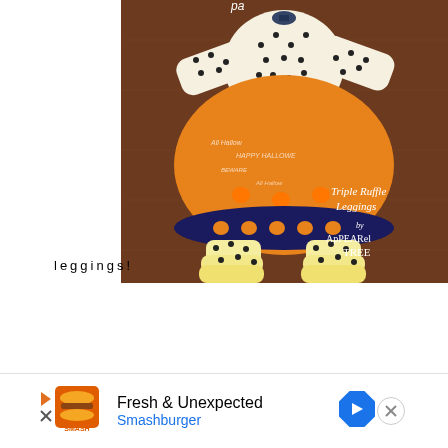[Figure (photo): Photo of a Halloween-themed children's outfit including a polka-dot long-sleeve top with an orange Halloween skirt (with 'Happy Halloween', 'Beware', 'All Hallow' text print), dark navy border with pumpkins, and yellow polka-dot triple ruffle leggings. Text overlay reads 'Triple Ruffle Leggings by ApPEARel TREE'. Laid flat on a wood floor.]
leggings!
[Figure (other): Advertisement banner: Smashburger logo on left, text 'Fresh & Unexpected' and 'Smashburger', orange navigation arrow icon on right, close (X) button on far right.]